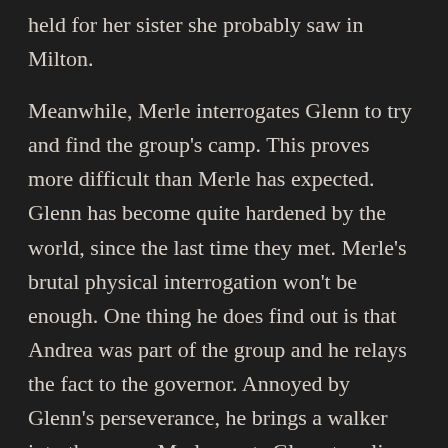held for her sister she probably saw in Milton.
Meanwhile, Merle interrogates Glenn to try and find the group's camp. This proves more difficult than Merle has expected. Glenn has become quite hardened by the world, since the last time they met. Merle's brutal physical interrogation won't be enough. One thing he does find out is that Andrea was part of the group and he relays the fact to the governor. Annoyed by Glenn's perseverance, he brings a walker into the room. Merle wants Glenn to relive the feeling of desperation that he felt when he was left to die on the roof.